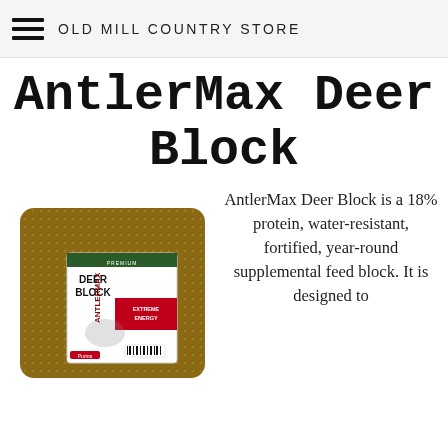OLD MILL COUNTRY STORE
AntlerMax Deer Block
[Figure (photo): Product photo of Purina AntlerMax Deer Block — a rectangular brown compressed feed block with a red and green label reading 'PREMIUM DEER BLOCK' and 'ANTLERMAX' and 'EXTREME ENERGY']
AntlerMax Deer Block is a 18% protein, water-resistant, fortified, year-round supplemental feed block. It is designed to